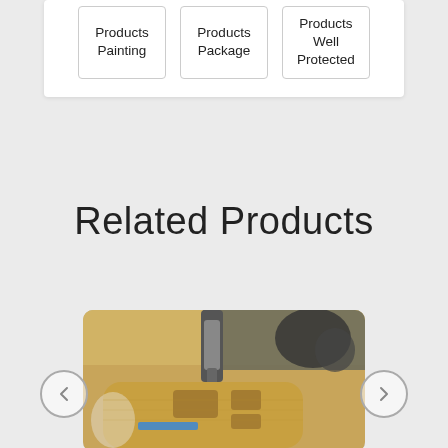| Products
Painting | Products
Package | Products
Well
Protected |
Related Products
[Figure (photo): CNC milling machine drilling into a wooden guitar body shape, with router bit visible and blue tape on workpiece surface.]